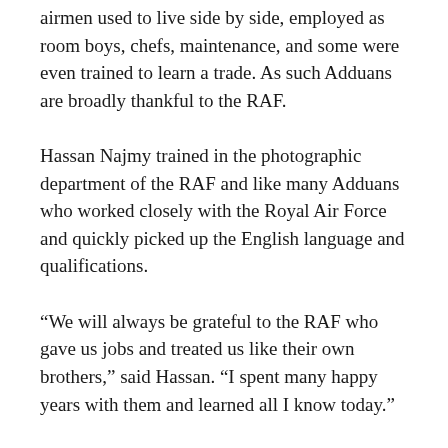airmen used to live side by side, employed as room boys, chefs, maintenance, and some were even trained to learn a trade. As such Adduans are broadly thankful to the RAF.
Hassan Najmy trained in the photographic department of the RAF and like many Adduans who worked closely with the Royal Air Force and quickly picked up the English language and qualifications.
“We will always be grateful to the RAF who gave us jobs and treated us like their own brothers,” said Hassan. “I spent many happy years with them and learned all I know today.”
Hassan joined the photographic section, not long after the Queen’s visit to the Maldives and RAF Gan in 1972.
“It is what they are saying about me when…